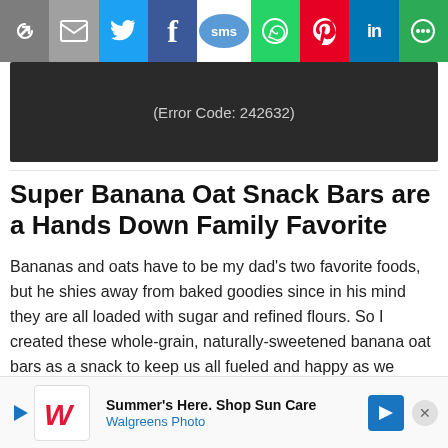[Figure (infographic): Social media share bar with icons: link, email, Twitter, Facebook, SMS, WhatsApp, Pinterest, LinkedIn, and more options]
[Figure (screenshot): Video player showing error code 242632 on dark background]
Super Banana Oat Snack Bars are a Hands Down Family Favorite
Bananas and oats have to be my dad’s two favorite foods, but he shies away from baked goodies since in his mind they are all loaded with sugar and refined flours. So I created these whole-grain, naturally-sweetened banana oat bars as a snack to keep us all fueled and happy as we labored away.
[Figure (infographic): Walgreens Photo advertisement banner: Summer’s Here. Shop Sun Care. Walgreens Photo with logo, blue arrow icon, and close button.]